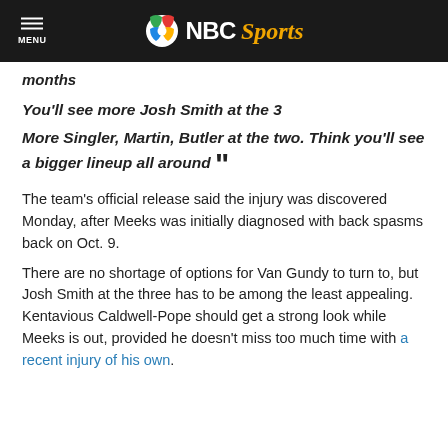NBC Sports
months
You'll see more Josh Smith at the 3
More Singler, Martin, Butler at the two. Think you'll see a bigger lineup all around ”
The team’s official release said the injury was discovered Monday, after Meeks was initially diagnosed with back spasms back on Oct. 9.
There are no shortage of options for Van Gundy to turn to, but Josh Smith at the three has to be among the least appealing. Kentavious Caldwell-Pope should get a strong look while Meeks is out, provided he doesn’t miss too much time with a recent injury of his own.